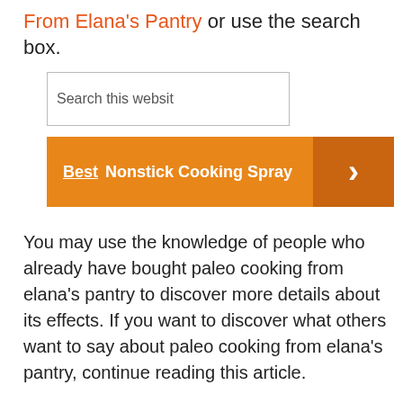From Elana's Pantry or use the search box.
[Figure (screenshot): Search box input field with placeholder text 'Search this website']
[Figure (infographic): Orange advertisement banner with text 'Best Nonstick Cooking Spray' and a right arrow button on a darker orange background]
You may use the knowledge of people who already have bought paleo cooking from elana's pantry to discover more details about its effects. If you want to discover what others want to say about paleo cooking from elana's pantry, continue reading this article.